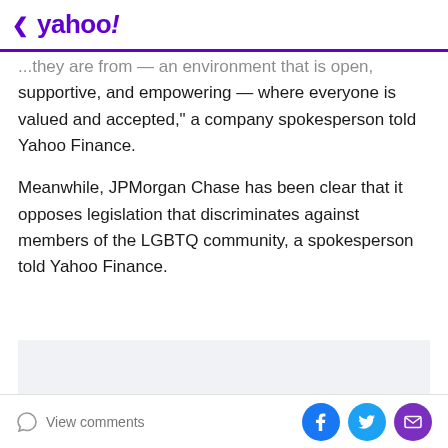< yahoo!
... environment that is open, supportive, and empowering — where everyone is valued and accepted," a company spokesperson told Yahoo Finance.
Meanwhile, JPMorgan Chase has been clear that it opposes legislation that discriminates against members of the LGBTQ community, a spokesperson told Yahoo Finance.
[Figure (other): Advertisement placeholder box with light gray background]
View comments | Share on Facebook, Twitter, Email